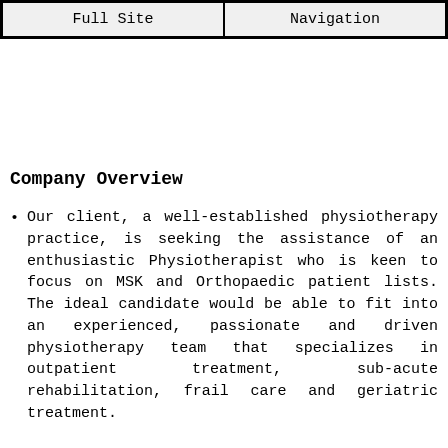Full Site | Navigation
Company Overview
Our client, a well-established physiotherapy practice, is seeking the assistance of an enthusiastic Physiotherapist who is keen to focus on MSK and Orthopaedic patient lists. The ideal candidate would be able to fit into an experienced, passionate and driven physiotherapy team that specializes in outpatient treatment, sub-acute rehabilitation, frail care and geriatric treatment.